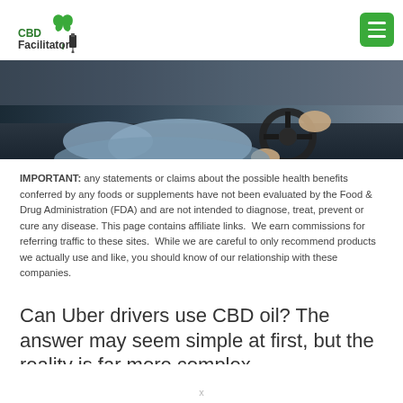[Figure (logo): CBD Facilitator logo with green cannabis leaf and dropper bottle icon]
[Figure (photo): Person's hands on a car steering wheel, wearing a light blue shirt, driving a vehicle]
IMPORTANT: any statements or claims about the possible health benefits conferred by any foods or supplements have not been evaluated by the Food & Drug Administration (FDA) and are not intended to diagnose, treat, prevent or cure any disease. This page contains affiliate links. We earn commissions for referring traffic to these sites. While we are careful to only recommend products we actually use and like, you should know of our relationship with these companies.
Can Uber drivers use CBD oil? The answer may seem simple at first, but the reality is far more complex